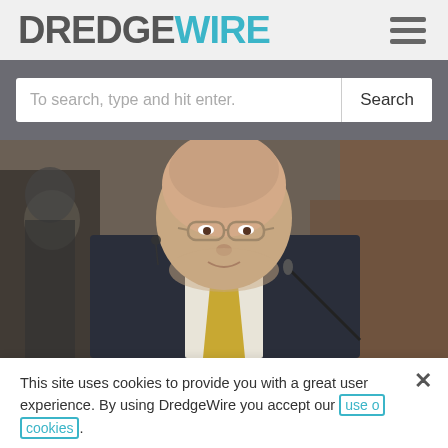DREDGEWIRE
[Figure (screenshot): Search bar with placeholder text 'To search, type and hit enter.' and a Search button on grey background]
[Figure (photo): Bald man in dark suit with yellow tie and glasses, speaking at a conference with a microphone, earpiece in ear]
This site uses cookies to provide you with a great user experience. By using DredgeWire you accept our use of cookies.
Accept All Cookies